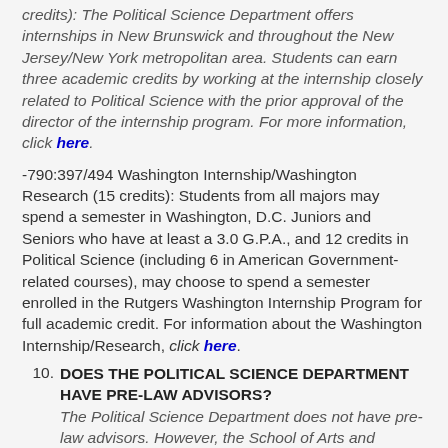credits): The Political Science Department offers internships in New Brunswick and throughout the New Jersey/New York metropolitan area. Students can earn three academic credits by working at the internship closely related to Political Science with the prior approval of the director of the internship program. For more information, click here.
-790:397/494 Washington Internship/Washington Research (15 credits): Students from all majors may spend a semester in Washington, D.C. Juniors and Seniors who have at least a 3.0 G.P.A., and 12 credits in Political Science (including 6 in American Government-related courses), may choose to spend a semester enrolled in the Rutgers Washington Internship Program for full academic credit. For information about the Washington Internship/Research, click here.
10. DOES THE POLITICAL SCIENCE DEPARTMENT HAVE PRE-LAW ADVISORS? The Political Science Department does not have pre-law advisors. However, the School of Arts and Sciences (SAS) has appointed two advisors.